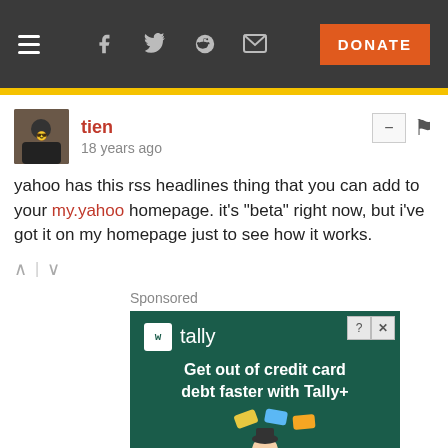Navigation bar with hamburger menu, social icons (Facebook, Twitter, Reddit, Email), and DONATE button
tien
18 years ago
yahoo has this rss headlines thing that you can add to your my.yahoo homepage. it's "beta" right now, but i've got it on my homepage just to see how it works.
Sponsored
[Figure (screenshot): Tally advertisement on dark green background. Logo shows 'w' icon and 'tally' text. Tagline: 'Get out of credit card debt faster with Tally+'. Illustration of a person meditating with cards floating above.]